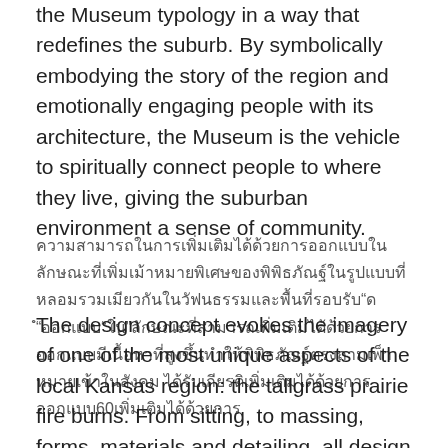the Museum typology in a way that redefines the suburb. By symbolically embodying the story of the region and emotionally engaging people with its architecture, the Museum is the vehicle to spiritually connect people to where they live, giving the suburban environment a sense of community.
[Thai text block containing description of design concept referencing 60 elements]
The design concept evokes the imagery of one of the most unique aspects of the local Kansas region: the tallgrass prairie fire burns. From sitting, to massing, forms, materials and detailing, all design decisions cultivate this concept. Rolling 'hills' of stone form the background landscape for vibrant 'lines of fire'. Materials dynamically shifting in color